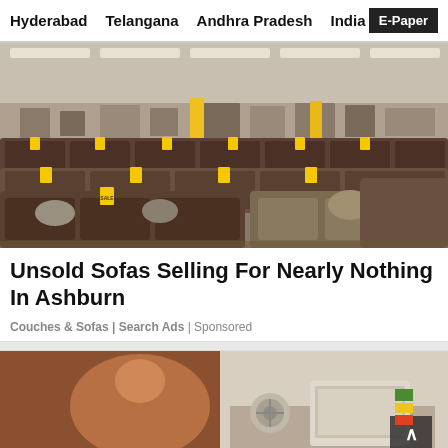Hyderabad   Telangana   Andhra Pradesh   India   E-Paper
[Figure (photo): Interior of a large furniture showroom with rows of dark brown and tan sofas/sectionals with yellow price tags displayed under bright ceiling lights. Wall displays shelving and framed art in the background.]
Unsold Sofas Selling For Nearly Nothing In Ashburn
Couches & Sofas | Search Ads | Sponsored
[Figure (photo): Partial view of an advertisement featuring a person and product display related to body contouring (25 Body Contouring visible), alongside an image of a laptop or tablet on a desk with a fan, partially visible.]